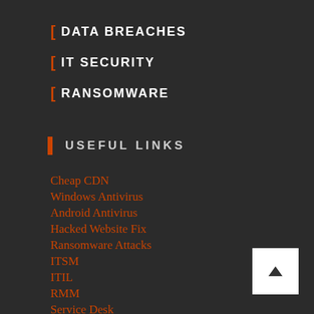[ DATA BREACHES
[ IT SECURITY
[ RANSOMWARE
USEFUL LINKS
Cheap CDN
Windows Antivirus
Android Antivirus
Hacked Website Fix
Ransomware Attacks
ITSM
ITIL
RMM
Service Desk
Remote Desktop Connection Manage
Ticketing System